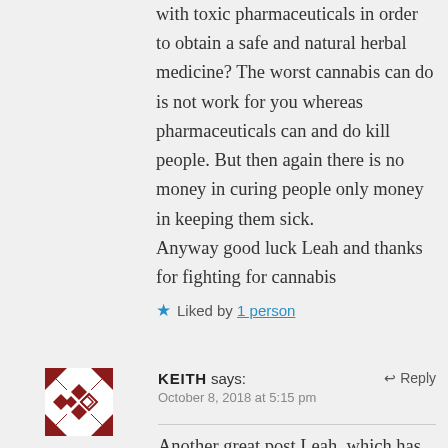with toxic pharmaceuticals in order to obtain a safe and natural herbal medicine? The worst cannabis can do is not work for you whereas pharmaceuticals can and do kill people. But then again there is no money in curing people only money in keeping them sick.
Anyway good luck Leah and thanks for fighting for cannabis
★ Liked by 1 person
[Figure (illustration): Avatar icon with geometric diamond/chevron pattern in dark red on white background]
KEITH says: ↩ Reply
October 8, 2018 at 5:15 pm
Another great post Leah, which has my